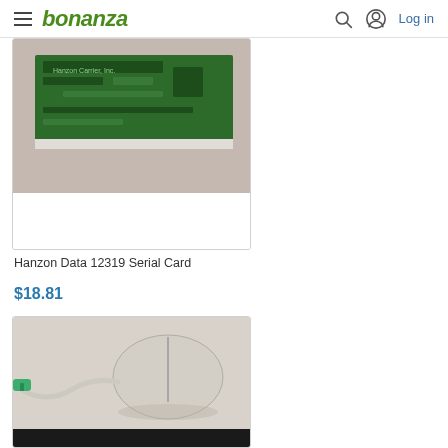bonanza  Log in
[Figure (photo): Hanzon Data 12319 Serial Card (partially visible product listing card with green circuit board image)]
Hanzon Data 12319 Serial Card
$18.81
[Figure (photo): Beige PS/2 mouse with green connector and cord, product listing photo on white/grey background]